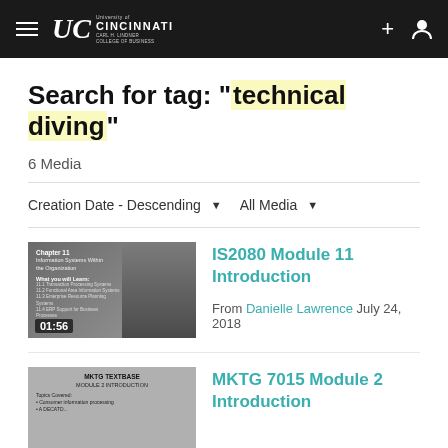University of Cincinnati | Carl H. Lindner College of Business
Search for tag: "technical diving"
6 Media
Creation Date - Descending   All Media
[Figure (screenshot): Video thumbnail showing Chapter 11 Information Systems Within the Organization slide with a man in a suit, duration 01:56]
IS2080 Module 11 Introduction
From Danielle Lawrence July 24, 2018
[Figure (screenshot): Video thumbnail showing MKTG 7015 Module 2 Introduction slide with a man in glasses]
MKTG 7015 Module 2 Introduction